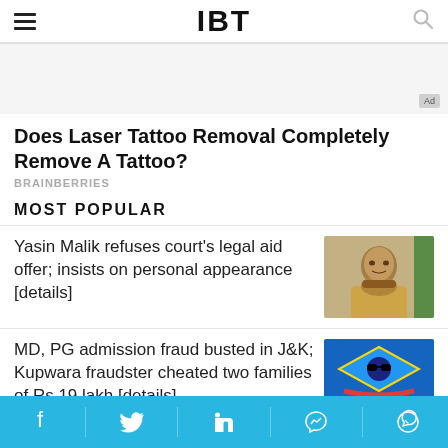IBT
[Figure (other): Ad banner placeholder with Ad label]
Does Laser Tattoo Removal Completely Remove A Tattoo?
BRAINBERRIES
MOST POPULAR
Yasin Malik refuses court's legal aid offer; insists on personal appearance [details]
[Figure (photo): Photo of Yasin Malik, a man with beard gesturing with hand]
MD, PG admission fraud busted in J&K; Kupwara fraudster cheated two families of Rs 19 lakh [details]
[Figure (photo): Crime Branch Jammu and Kashmir logo on blue background]
Social media icons: Facebook, Twitter, LinkedIn, Messenger, WhatsApp